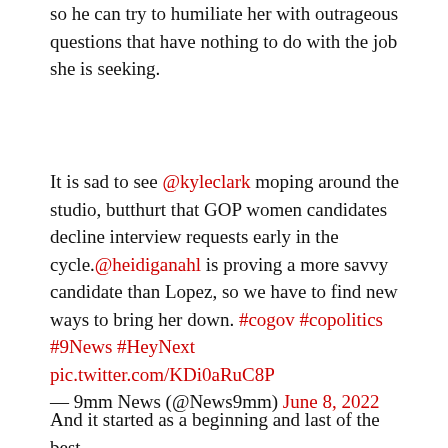so he can try to humiliate her with outrageous questions that have nothing to do with the job she is seeking.
It is sad to see @kyleclark moping around the studio, butthurt that GOP women candidates decline interview requests early in the cycle.@heidiganahl is proving a more savvy candidate than Lopez, so we have to find new ways to bring her down. #cogov #copolitics #9News #HeyNext pic.twitter.com/KDi0aRuC8P
— 9mm News (@News9mm) June 8, 2022
And it started as a beginning and last of the best